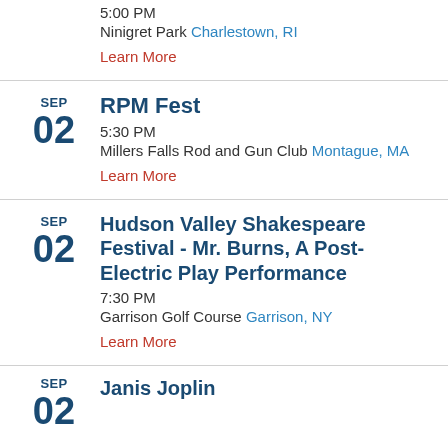5:00 PM
Ninigret Park Charlestown, RI
Learn More
SEP 02 RPM Fest
5:30 PM
Millers Falls Rod and Gun Club Montague, MA
Learn More
SEP 02 Hudson Valley Shakespeare Festival - Mr. Burns, A Post-Electric Play Performance
7:30 PM
Garrison Golf Course Garrison, NY
Learn More
SEP (partial, cut off)